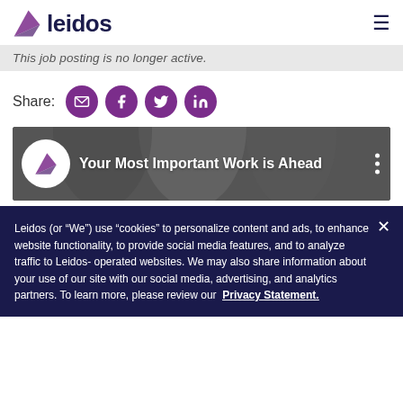[Figure (logo): Leidos logo with purple arrow/triangle mark and bold dark navy 'leidos' text, plus hamburger menu icon on right]
This job posting is no longer active.
Share:
[Figure (infographic): Social share buttons: email, Facebook, Twitter, LinkedIn icons in purple circles]
[Figure (screenshot): Leidos branded video banner: white circle logo on left, text 'Your Most Important Work is Ahead' in white, three-dot menu on right, dark background with people visible]
Leidos (or “We”) use “cookies” to personalize content and ads, to enhance website functionality, to provide social media features, and to analyze traffic to Leidos-operated websites. We may also share information about your use of our site with our social media, advertising, and analytics partners. To learn more, please review our Privacy Statement.